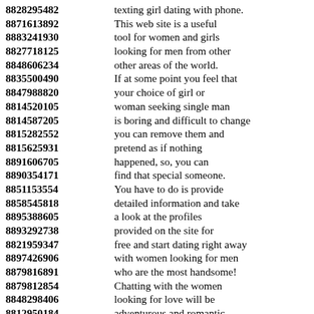8828295482 texting girl dating with phone.
8871613892 This web site is a useful
8883241930 tool for women and girls
8827718125 looking for men from other
8848606234 other areas of the world.
8835500490 If at some point you feel that
8847988820 your choice of girl or
8814520105 woman seeking single man
8814587205 is boring and difficult to change
8815282552 you can remove them and
8815625931 pretend as if nothing
8891606705 happened, so, you can
8890354171 find that special someone.
8851153554 You have to do is provide
8858545818 detailed information and take
8895388605 a look at the profiles
8893292738 provided on the site for
8821959347 free and start dating right away
8897426906 with women looking for men
8879816891 who are the most handsome!
8879812854 Chatting with the women
8848298406 looking for love will be
8812950184 adventurous and romantic.
8821258745 Choosing a woman from
8892536755 marriage and dating agency